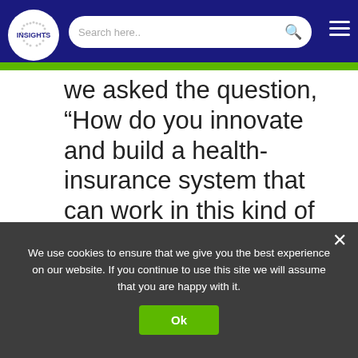INSIGHTS | Search here..
we asked the question, “How do you innovate and build a health-insurance system that can work in this kind of environment?” Our gut instinct was that if you can make people healthier, you can offer more
We use cookies to ensure that we give you the best experience on our website. If you continue to use this site we will assume that you are happy with it.